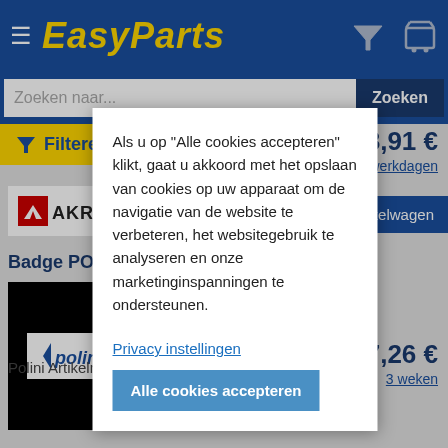[Figure (screenshot): EasyParts webshop header with hamburger menu, yellow italic logo text 'EasyParts', filter and cart icons on blue background]
Zoeken naar...
Zoeken
Filtere
8,91 €
6 werkdagen
winkelwagen
[Figure (logo): Akrapovic brand logo in black and white with red arrow/S mark]
Badge POLIN
[Figure (photo): Black background product image with Polini logo on white background]
Als u op "Alle cookies accepteren" klikt, gaat u akkoord met het opslaan van cookies op uw apparaat om de navigatie van de website te verbeteren, het websitegebruik te analyseren en onze marketinginspanningen te ondersteunen.
Privacy instellingen
Alle cookies accepteren
Polini Artikelnummer: 097.0216
7,26 €
3 weken